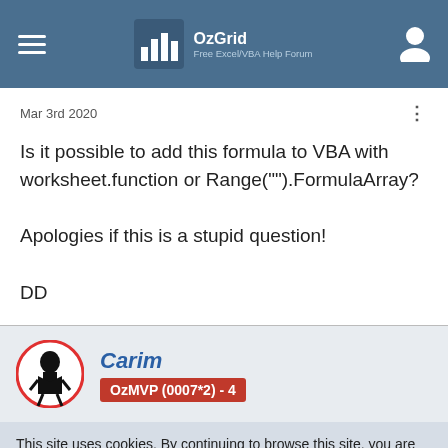OzGrid Free Excel/VBA Help Forum
Mar 3rd 2020
Is it possible to add this formula to VBA with worksheet.function or Range("").FormulaArray?

Apologies if this is a stupid question!

DD
Carim
OzMVP (0007*2) - 4
This site uses cookies. By continuing to browse this site, you are agreeing to our use of cookies.